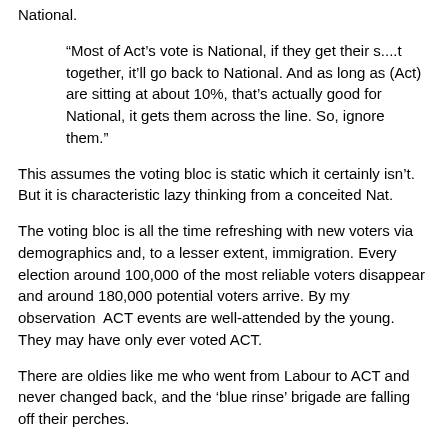National.
“Most of Act’s vote is National, if they get their s....t together, it’ll go back to National. And as long as (Act) are sitting at about 10%, that’s actually good for National, it gets them across the line. So, ignore them.”
This assumes the voting bloc is static which it certainly isn’t. But it is characteristic lazy thinking from a conceited Nat.
The voting bloc is all the time refreshing with new voters via demographics and, to a lesser extent, immigration. Every election around 100,000 of the most reliable voters disappear and around 180,000 potential voters arrive. By my observation  ACT events are well-attended by the young. They may have only ever voted ACT.
There are oldies like me who went from Labour to ACT and never changed back, and the ‘blue rinse’ brigade are falling off their perches.
There are immigrants from countries which have drilled into